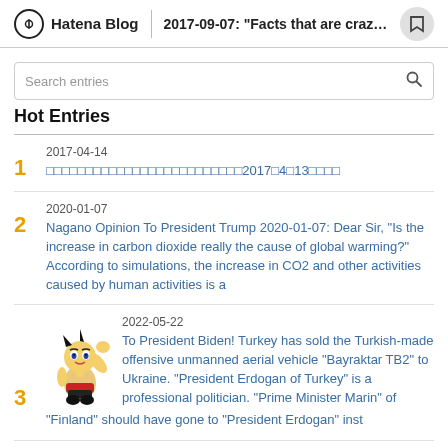Hatena Blog | 2017-09-07: "Facts that are crazy...
Search entries
Hot Entries
2017-04-14 | [Japanese text link] 2017年4月13日[Japanese text]
2020-01-07 | Nagano Opinion To President Trump 2020-01-07: Dear Sir, "Is the increase in carbon dioxide really the cause of global warming?" According to simulations, the increase in CO2 and other activities caused by human activities is a
2022-05-22 | To President Biden! Turkey has sold the Turkish-made offensive unmanned aerial vehicle "Bayraktar TB2" to Ukraine. "President Erdogan of Turkey" is a professional politician. "Prime Minister Marin" of "Finland" should have gone to "President Erdogan" inst